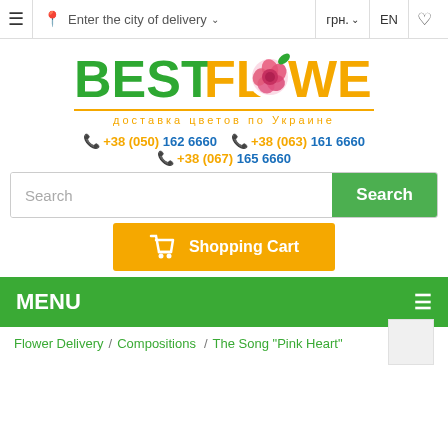≡  Enter the city of delivery ∨   грн. ∨   EN   ♡
[Figure (logo): BestFlowers logo with green and orange text, pink rose in the letter O, subtitle 'доставка цветов по Украине']
+38 (050) 162 6660   +38 (063) 161 6660   +38 (067) 165 6660
Search [Search button]
Shopping Cart
MENU
Flower Delivery / Compositions / The Song "Pink Heart"